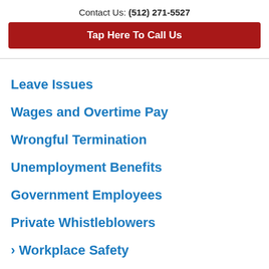Contact Us: (512) 271-5527
Tap Here To Call Us
Leave Issues
Wages and Overtime Pay
Wrongful Termination
Unemployment Benefits
Government Employees
Private Whistleblowers
› Workplace Safety